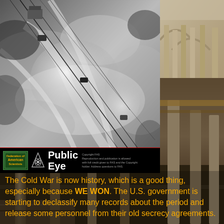[Figure (photo): Black and white aerial/satellite reconnaissance image showing terrain with cable car lines visible, with a Federation of American Scientists 'Public Eye' banner at the bottom of the image]
[Figure (photo): Color photograph of ancient stone columns interior, lighter tones, top-right position]
[Figure (photo): Color photograph of ancient stone columns interior, darker tones, middle-right and bottom positions]
The Cold War is now history, which is a good thing, especially because WE WON. The U.S. government is starting to declassify many records about the period and release some personnel from their old secrecy agreements.